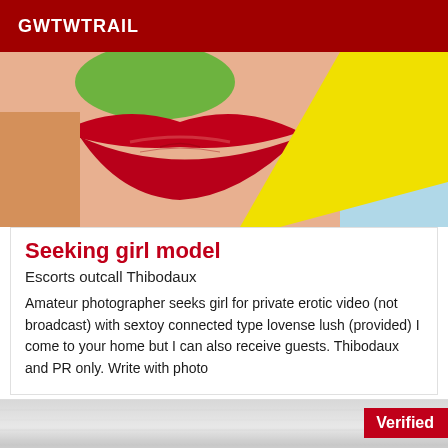GWTWTRAIL
[Figure (photo): Close-up photo of red lips biting into a green item with a yellow diagonal band across the image against a light blue background.]
Seeking girl model
Escorts outcall Thibodaux
Amateur photographer seeks girl for private erotic video (not broadcast) with sextoy connected type lovense lush (provided) I come to your home but I can also receive guests. Thibodaux and PR only. Write with photo
[Figure (photo): Silver metallic brushed texture background with a red 'Verified' badge in the top right corner.]